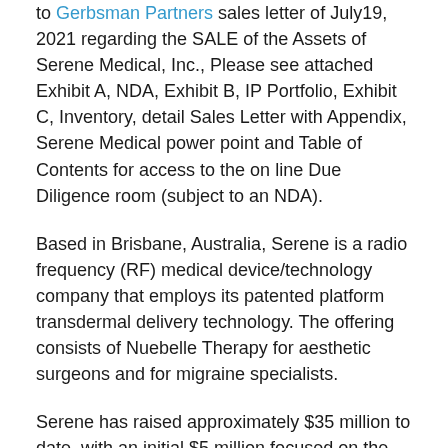to Gerbsman Partners sales letter of July19, 2021 regarding the SALE of the Assets of Serene Medical, Inc., Please see attached Exhibit A, NDA, Exhibit B, IP Portfolio, Exhibit C, Inventory, detail Sales Letter with Appendix, Serene Medical power point and Table of Contents for access to the on line Due Diligence room (subject to an NDA).
Based in Brisbane, Australia, Serene is a radio frequency (RF) medical device/technology company that employs its patented platform transdermal delivery technology. The offering consists of Nuebelle Therapy for aesthetic surgeons and for migraine specialists.
Serene has raised approximately $35 million to date, with an initial $5 million focused on the clinical trials of the RF Technology. The majority shareholders are venture capital